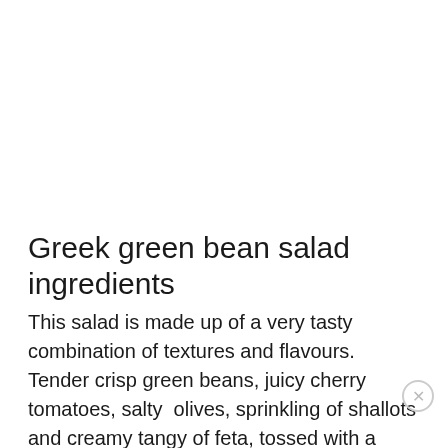Greek green bean salad ingredients
This salad is made up of a very tasty combination of textures and flavours. Tender crisp green beans, juicy cherry tomatoes, salty  olives, sprinkling of shallots and creamy tangy of feta, tossed with a classic lemon salad dressing. Let's break it down:
Green Beans: fresh is always best. Make sure